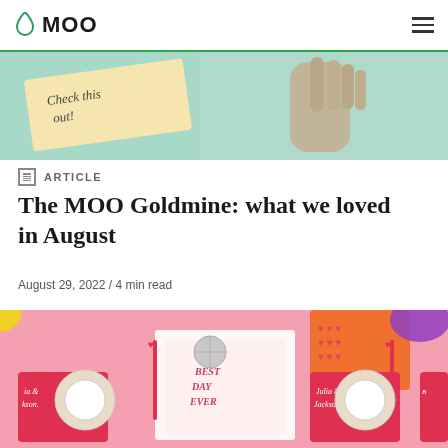MOO
[Figure (photo): Top hero image showing a wooden mannequin hand holding a note that reads 'Check this out!' on a mint green background]
ARTICLE
The MOO Goldmine: what we loved in August
August 29, 2022 / 4 min read
[Figure (photo): Colorful flat-lay photo with pink background showing wedding invitations reading 'Julia & Jackson' and 'Best Day Ever', disco balls, flowers, red heart stirrers, and decorative plates]